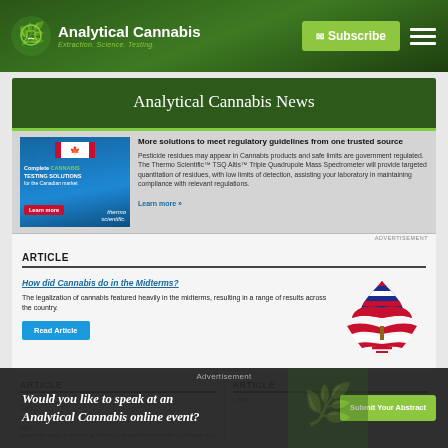Analytical Cannabis — Extraction. Science. Testing. | Subscribe
Analytical Cannabis News
[Figure (advertisement): Thermo Scientific advertisement for Complete Cannabis Testing Solutions for the Canadian market, featuring a Canadian flag and lab equipment.]
More solutions to meet regulatory guidelines from one trusted source
Pesticide residues may appear in Cannabis products and safe limits are government regulated. The Thermo Scientific™ TSQ Altis™ Triple Quadrupole Mass Spectrometer will provide targeted quantitation of residues, with low limits of detection, assisting your laboratory in maintaining compliance with relevant regulations.
Learn more »
ADVERTISEMENT
ARTICLE
How did Cannabis do in the Midterms?
The legalization of cannabis featured heavily in the midterms, resulting in a range of results across the country.
[Figure (illustration): American flag styled cannabis leaf logo]
ARTICLE
ARTICLE
Was Cannabis...
After...
Advertisement
Would you like to speak at an Analytical Cannabis online event?
[Figure (photo): Cannabis leaves background image]